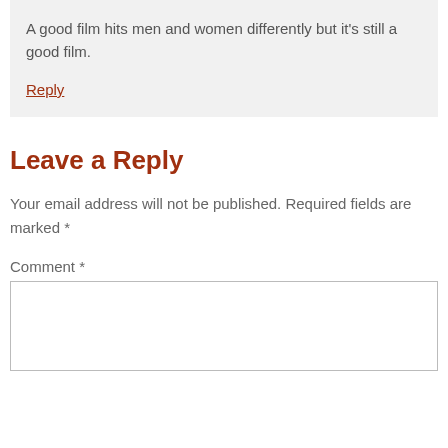A good film hits men and women differently but it's still a good film.
Reply
Leave a Reply
Your email address will not be published. Required fields are marked *
Comment *